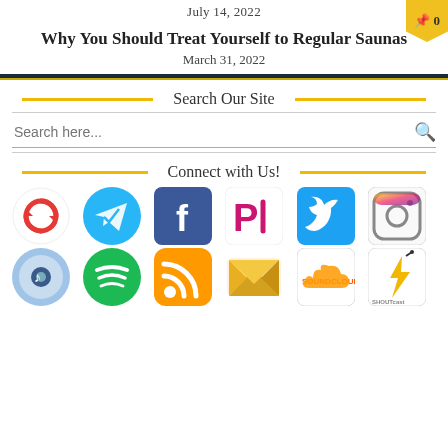July 14, 2022
Why You Should Treat Yourself to Regular Saunas
March 31, 2022
Search Our Site
Search here...
Connect with Us!
[Figure (infographic): Social media icons grid: Reload, Telegram, Facebook, Picooc, Twitter, Instagram (top row); iTunes, Spotify, RSS, Email, SoundCloud, SHOUTcast (bottom row)]